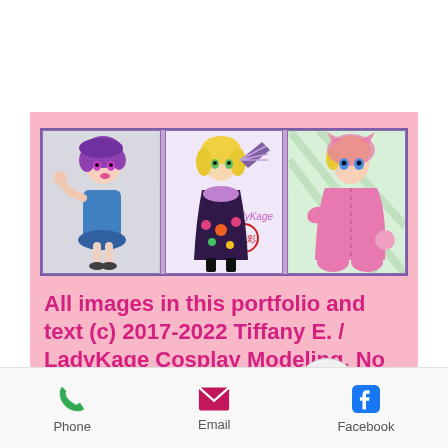[Figure (illustration): Three anime-style illustrations side by side in a bordered panel: left shows a purple-haired girl in blue outfit, center shows a blonde girl in a decorative dress holding a fan with LadyKage signature and seal, right shows a blonde girl in a pink bunny/cat onesie costume.]
All images in this portfolio and text (c) 2017-2022 Tiffany E. / LadyKage Cosplay Modeling. No part of this website m... be used without express ...
Phone   Email   Facebook